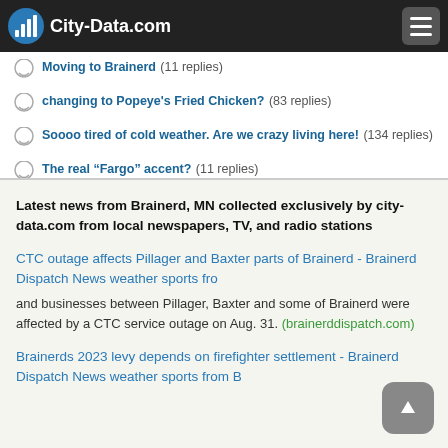City-Data.com
Moving to Brainerd (11 replies)
Changing to Popeye's Fried Chicken? (83 replies)
Soooo tired of cold weather. Are we crazy living here! (134 replies)
The real “Fargo” accent? (11 replies)
Latest news from Brainerd, MN collected exclusively by city-data.com from local newspapers, TV, and radio stations
CTC outage affects Pillager and Baxter parts of Brainerd - Brainerd Dispatch News weather sports fro
and businesses between Pillager, Baxter and some of Brainerd were affected by a CTC service outage on Aug. 31. (brainerddispatch.com)
Brainerds 2023 levy depends on firefighter settlement - Brainerd Dispatch News weather sports from B